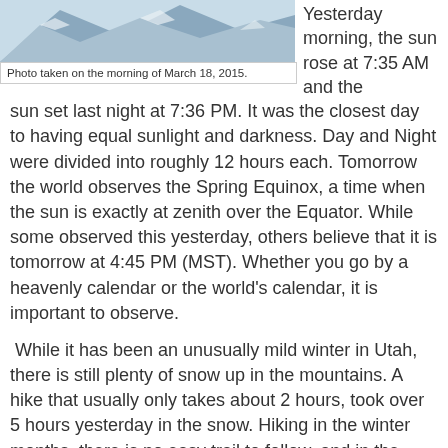[Figure (photo): Snow-covered mountain scene, photo taken on the morning of March 18, 2015.]
Photo taken on the morning of March 18, 2015.
Yesterday morning, the sun rose at 7:35 AM and the sun set last night at 7:36 PM. It was the closest day to having equal sunlight and darkness. Day and Night were divided into roughly 12 hours each. Tomorrow the world observes the Spring Equinox, a time when the sun is exactly at zenith over the Equator. While some observed this yesterday, others believe that it is tomorrow at 4:45 PM (MST). Whether you go by a heavenly calendar or the world's calendar, it is important to observe.
While it has been an unusually mild winter in Utah, there is still plenty of snow up in the mountains. A hike that usually only takes about 2 hours, took over 5 hours yesterday in the snow. Hiking in the winter months, there is no easy trail to follow, and in the backcountry you need to forge your own path. The goal yesterday was to summit to Lake Katherine passing Lake Mary. Last year, Lake Mary was completely dry. I wrote about it HERE. Right now, the mountain lakes are still frozen and snow covered. It was a serene and beautiful...